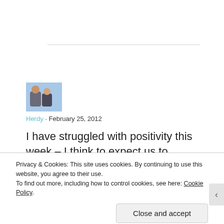[Figure (photo): Small avatar photo of two people outdoors]
Herdy · February 25, 2012
I have struggled with positivity this week – I think to expect us to constantly be positive is
Privacy & Cookies: This site uses cookies. By continuing to use this website, you agree to their use.
To find out more, including how to control cookies, see here: Cookie Policy.
Close and accept